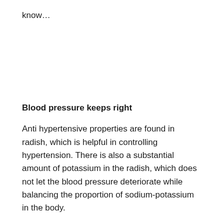know…
Blood pressure keeps right
Anti hypertensive properties are found in radish, which is helpful in controlling hypertension. There is also a substantial amount of potassium in the radish, which does not let the blood pressure deteriorate while balancing the proportion of sodium-potassium in the body.